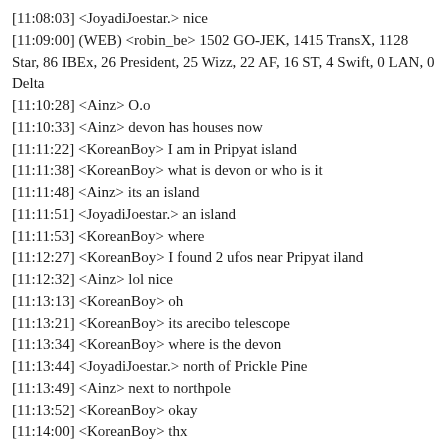[11:08:03] <JoyadiJoestar.> nice
[11:09:00] (WEB) <robin_be> 1502 GO-JEK, 1415 TransX, 1128 Star, 86 IBEx, 26 President, 25 Wizz, 22 AF, 16 ST, 4 Swift, 0 LAN, 0 Delta
[11:10:28] <Ainz> O.o
[11:10:33] <Ainz> devon has houses now
[11:11:22] <KoreanBoy> I am in Pripyat island
[11:11:38] <KoreanBoy> what is devon or who is it
[11:11:48] <Ainz> its an island
[11:11:51] <JoyadiJoestar.> an island
[11:11:53] <KoreanBoy> where
[11:12:27] <KoreanBoy> I found 2 ufos near Pripyat iland
[11:12:32] <Ainz> lol nice
[11:13:13] <KoreanBoy> oh
[11:13:21] <KoreanBoy> its arecibo telescope
[11:13:34] <KoreanBoy> where is the devon
[11:13:44] <JoyadiJoestar.> north of Prickle Pine
[11:13:49] <Ainz> next to northpole
[11:13:52] <KoreanBoy> okay
[11:14:00] <KoreanBoy> thx
[11:14:41] <KoreanBoy> how much airports are in this game :D
[11:14:43] <KoreanBoy> server*
[11:14:46] <Ainz> alot
[11:14:48] <madmikez> yes
[11:14:51] <JoyadiJoestar.> more than 450